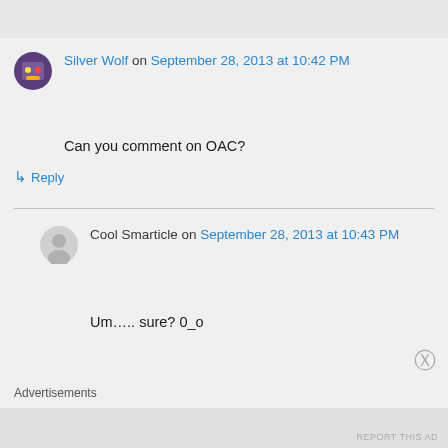Silver Wolf on September 28, 2013 at 10:42 PM
Can you comment on OAC?
↳ Reply
Cool Smarticle on September 28, 2013 at 10:43 PM
Um….. sure? 0_o
Advertisements